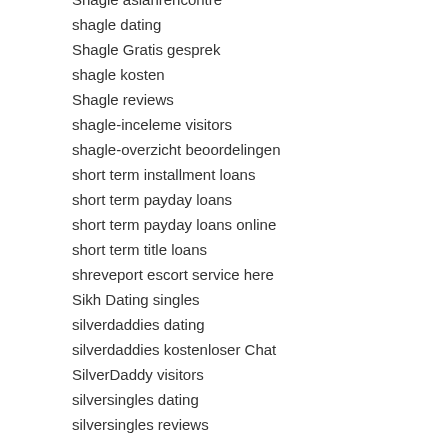Shagle asianrencontre
shagle dating
Shagle Gratis gesprek
shagle kosten
Shagle reviews
shagle-inceleme visitors
shagle-overzicht beoordelingen
short term installment loans
short term payday loans
short term payday loans online
short term title loans
shreveport escort service here
Sikh Dating singles
silverdaddies dating
silverdaddies kostenloser Chat
SilverDaddy visitors
silversingles dating
silversingles reviews